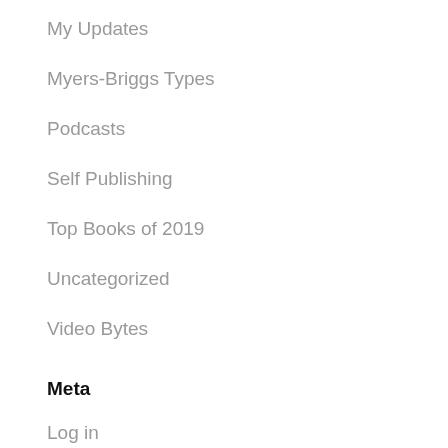My Updates
Myers-Briggs Types
Podcasts
Self Publishing
Top Books of 2019
Uncategorized
Video Bytes
Meta
Log in
Entries feed